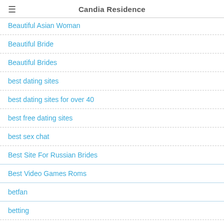Candia Residence
Beautiful Asian Woman
Beautiful Bride
Beautiful Brides
best dating sites
best dating sites for over 40
best free dating sites
best sex chat
Best Site For Russian Brides
Best Video Games Roms
betfan
betting
betting sites